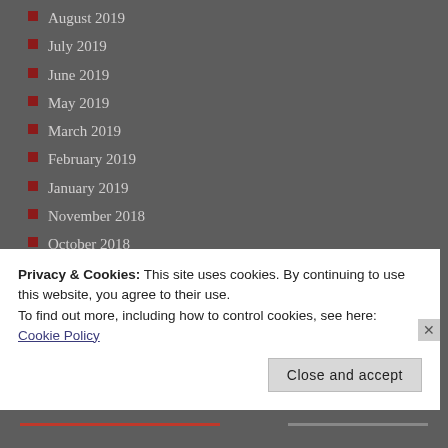August 2019
July 2019
June 2019
May 2019
March 2019
February 2019
January 2019
November 2018
October 2018
September 2018
August 2018
July 2018
June 2018
May 2018
April 2018
March 2018
February 2018
Privacy & Cookies: This site uses cookies. By continuing to use this website, you agree to their use.
To find out more, including how to control cookies, see here: Cookie Policy